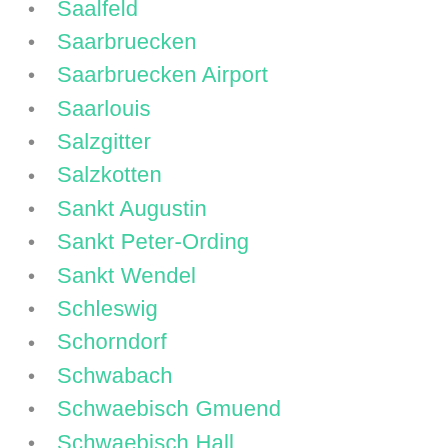Saalfeld
Saarbruecken
Saarbruecken Airport
Saarlouis
Salzgitter
Salzkotten
Sankt Augustin
Sankt Peter-Ording
Sankt Wendel
Schleswig
Schorndorf
Schwabach
Schwaebisch Gmuend
Schwaebisch Hall
Schwandorf
Schwangau
Schwarzenberg